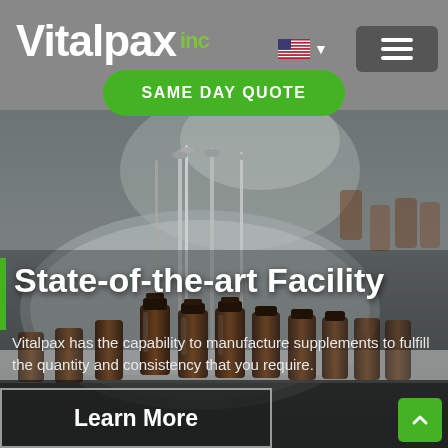Vitalpax inc
[Figure (screenshot): Website screenshot showing Vitalpax Inc header with logo, US flag language selector, hamburger menu button, green SAME DAY QUOTE button, and a laboratory background image with amber bottles on a conveyor line]
State-of-the-art Facility
Vitalpax has the capability to manufacture supplements to fulfill the quantity and consistency that you require.
Learn More